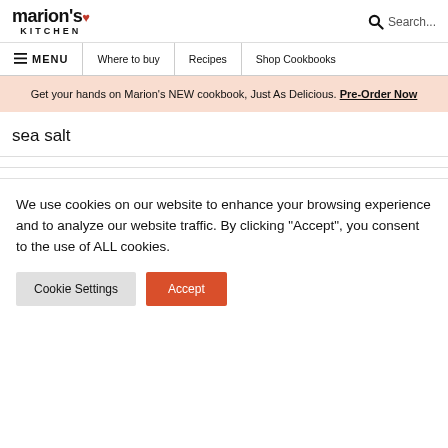marion's KITCHEN
MENU | Where to buy | Recipes | Shop Cookbooks
Get your hands on Marion's NEW cookbook, Just As Delicious. Pre-Order Now
sea salt
We use cookies on our website to enhance your browsing experience and to analyze our website traffic. By clicking “Accept”, you consent to the use of ALL cookies.
Cookie Settings | Accept